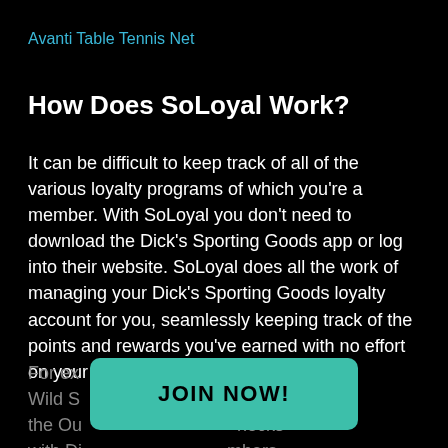Avanti Table Tennis Net
How Does SoLoyal Work?
It can be difficult to keep track of all of the various loyalty programs of which you're a member. With SoLoyal you don't need to download the Dick's Sporting Goods app or log into their website. SoLoyal does all the work of managing your Dick's Sporting Goods loyalty account for you, seamlessly keeping track of the points and rewards you've earned with no effort on your part.
For ex e a Wild S ms in the Ou hecks with Di mbers-
[Figure (other): JOIN NOW! button — a teal/green rounded rectangle button overlaid on top of the partial text at the bottom of the page]